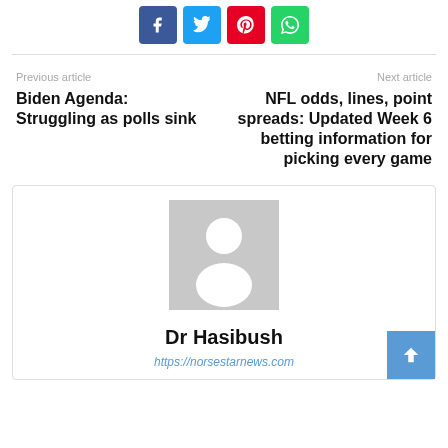[Figure (other): Social share buttons: Facebook (blue), Twitter (cyan), Pinterest (red), WhatsApp (green)]
Previous article
Biden Agenda: Struggling as polls sink
Next article
NFL odds, lines, point spreads: Updated Week 6 betting information for picking every game
[Figure (photo): Default author avatar placeholder — grey square with white silhouette of a person]
Dr Hasibush
https://norsestarnews.com